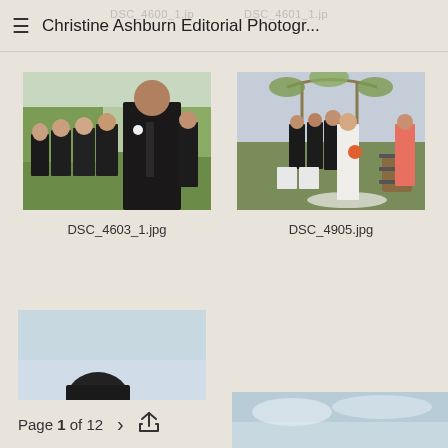Christine Ashburn Editorial Photogr...
[Figure (photo): Groomsmen group photo outdoors on grass, men in dark suits]
DSC_4603_1.jpg
[Figure (photo): Wedding ceremony outdoors with bride in white gown, groom, bridal party, and floral arch]
DSC_4905.jpg
[Figure (photo): Partial photo showing top of a man's head against sky, partially cut off at bottom]
[Figure (photo): Partial photo showing sky and landscape, cut off at bottom of page]
Page 1 of 12